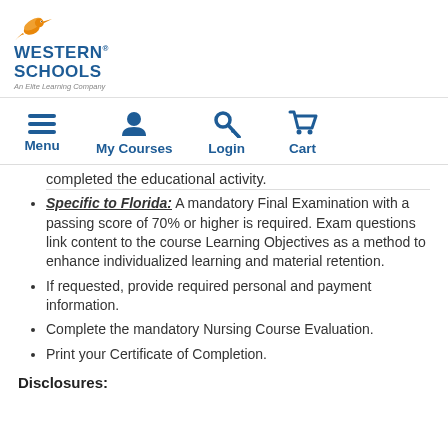[Figure (logo): Western Schools logo with orange hummingbird, blue bold text 'WESTERN SCHOOLS', and italic tagline 'An Elite Learning Company']
[Figure (infographic): Navigation bar with four icons and labels: Menu (hamburger), My Courses (person), Login (key), Cart (shopping cart)]
completed the educational activity.
Specific to Florida: A mandatory Final Examination with a passing score of 70% or higher is required. Exam questions link content to the course Learning Objectives as a method to enhance individualized learning and material retention.
If requested, provide required personal and payment information.
Complete the mandatory Nursing Course Evaluation.
Print your Certificate of Completion.
Disclosures: